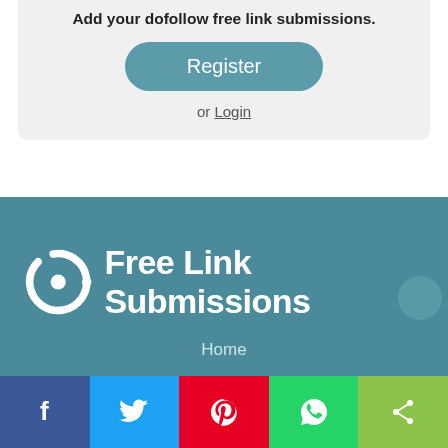Add your dofollow free link submissions.
Register
or Login
[Figure (logo): Free Link Submissions logo with circular C icon and brand name text in white on teal background]
Home
[Figure (infographic): Social share bar with Facebook, Twitter, Pinterest, WhatsApp, and more share buttons]